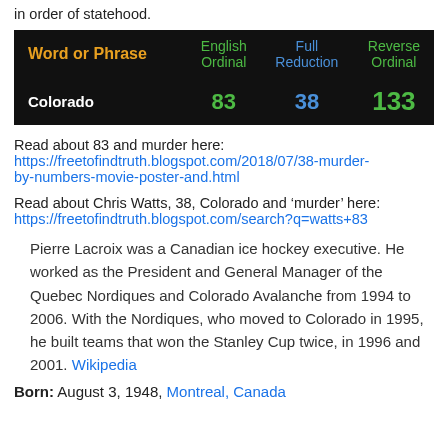in order of statehood.
| Word or Phrase | English Ordinal | Full Reduction | Reverse Ordinal |
| --- | --- | --- | --- |
| Colorado | 83 | 38 | 133 |
Read about 83 and murder here:
https://freetofindtruth.blogspot.com/2018/07/38-murder-by-numbers-movie-poster-and.html
Read about Chris Watts, 38, Colorado and ‘murder’ here:
https://freetofindtruth.blogspot.com/search?q=watts+83
Pierre Lacroix was a Canadian ice hockey executive. He worked as the President and General Manager of the Quebec Nordiques and Colorado Avalanche from 1994 to 2006. With the Nordiques, who moved to Colorado in 1995, he built teams that won the Stanley Cup twice, in 1996 and 2001. Wikipedia
Born: August 3, 1948, Montreal, Canada